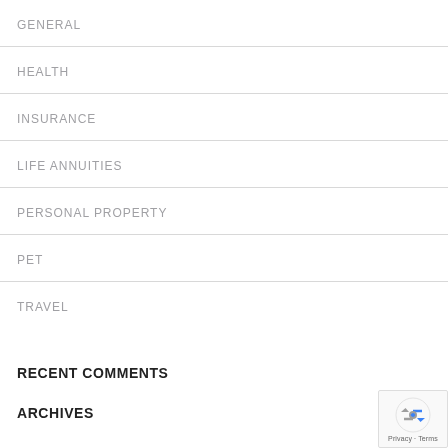GENERAL
HEALTH
INSURANCE
LIFE ANNUITIES
PERSONAL PROPERTY
PET
TRAVEL
RECENT COMMENTS
ARCHIVES